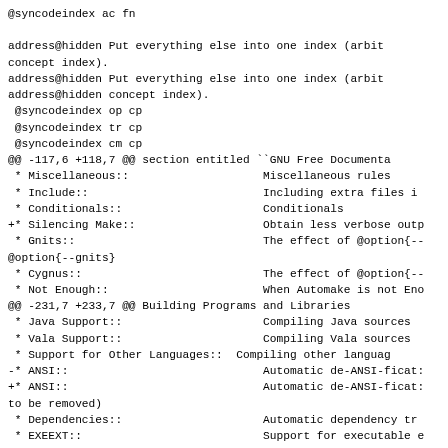@syncodeindex ac fn

address@hidden Put everything else into one index (arbit
concept index).
address@hidden Put everything else into one index (arbit
address@hidden concept index).
 @syncodeindex op cp
 @syncodeindex tr cp
 @syncodeindex cm cp
@@ -117,6 +118,7 @@ section entitled ``GNU Free Documenta
 * Miscellaneous::                    Miscellaneous rules
 * Include::                          Including extra files i
 * Conditionals::                     Conditionals
+* Silencing Make::                   Obtain less verbose outp
 * Gnits::                            The effect of @option{--
@option{--gnits}
 * Cygnus::                           The effect of @option{--
 * Not Enough::                       When Automake is not Eno
@@ -231,7 +233,7 @@ Building Programs and Libraries
 * Java Support::                     Compiling Java sources
 * Vala Support::                     Compiling Vala sources
 * Support for Other Languages::  Compiling other languag
-* ANSI::                             Automatic de-ANSI-ficat:
+* ANSI::                             Automatic de-ANSI-ficat:
to be removed)
 * Dependencies::                     Automatic dependency tr
 * EXEEXT::                           Support for executable e

@@ -331,6 +333,12 @@ Conditionals
 * Usage of Conditionals::     Declaring conditional co
 * Limits of Conditionals::    Enclosing complete state